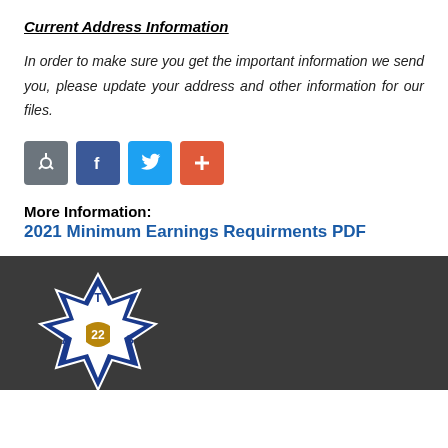Current Address Information
In order to make sure you get the important information we send you, please update your address and other information for our files.
[Figure (infographic): Row of four social sharing buttons: a gray share/Reddit button, a blue Facebook button, a light-blue Twitter button, and an orange-red plus/share button.]
More Information:
2021 Minimum Earnings Requirments PDF
[Figure (logo): IATSE Local 22 union logo on dark gray footer background — a blue and white star/cross badge with 'T' at top, 'A' at left, 'S' at right, and '22' in a gold shield at center.]